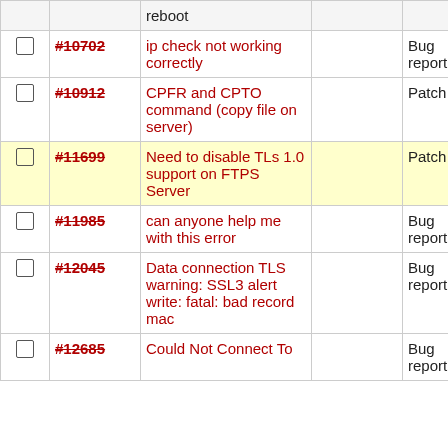|  | ID | Title |  | Type |  |
| --- | --- | --- | --- | --- | --- |
| ☐ | #10702 | ip check not working correctly |  | Bug report | n |
| ☐ | #10912 | CPFR and CPTO command (copy file on server) |  | Patch | n |
| ☐ | #11699 | Need to disable TLs 1.0 support on FTPS Server |  | Patch | h |
| ☐ | #11985 | can anyone help me with this error |  | Bug report | n |
| ☐ | #12045 | Data connection TLS warning: SSL3 alert write: fatal: bad record mac |  | Bug report | n |
| ☐ | #12685 | Could Not Connect To |  | Bug report | n |